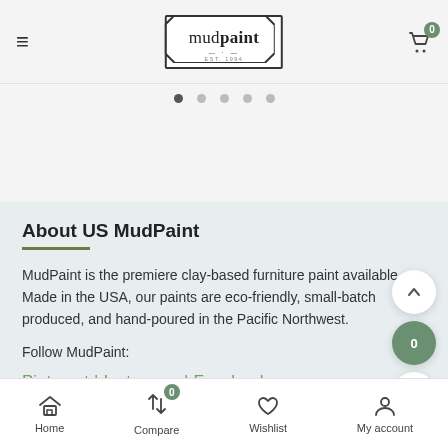mudpaint — header navigation with hamburger menu, logo, and cart icon (badge: 0)
[Figure (screenshot): Carousel slider dots indicator: 5 dots, first one active/filled]
[Figure (screenshot): Blank slide area below carousel dots]
About US MudPaint
MudPaint is the premiere clay-based furniture paint available. Made in the USA, our paints are eco-friendly, small-batch produced, and hand-poured in the Pacific Northwest.
Follow MudPaint:
Pinterest | Instagram | Facebook
Home | Compare (0) | Wishlist | My account